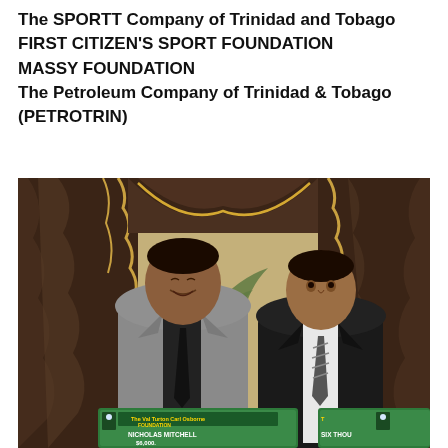The SPORTT Company of Trinidad and Tobago
FIRST CITIZEN'S SPORT FOUNDATION
MASSY FOUNDATION
The Petroleum Company of Trinidad & Tobago (PETROTRIN)
[Figure (photo): Two men in suits holding award certificates from The Val Turton Carl Osborne Foundation at an awards ceremony. The man on the left wears a grey suit with black tie and is holding a certificate for Nicholas Mitchell showing $6,000. The man on the right wears a black suit with a striped tie holding another certificate showing 'SIX THOU'. Background has dark curtains with decorative gold trim and palm plants.]